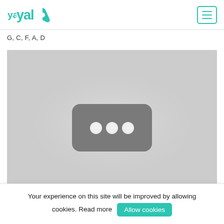yalp [logo] [menu button]
G, C, F, A, D
[Figure (photo): Grey loading placeholder image area with a dark rounded rectangle containing three white circles (loading indicator dots)]
Your experience on this site will be improved by allowing cookies. Read more [Allow cookies button]